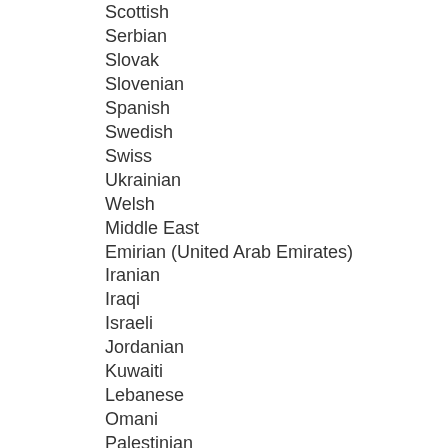Scottish
Serbian
Slovak
Slovenian
Spanish
Swedish
Swiss
Ukrainian
Welsh
Middle East
Emirian (United Arab Emirates)
Iranian
Iraqi
Israeli
Jordanian
Kuwaiti
Lebanese
Omani
Palestinian
Qatari
Saudi Arabian
South Korean
Syrian
Turkish
North America